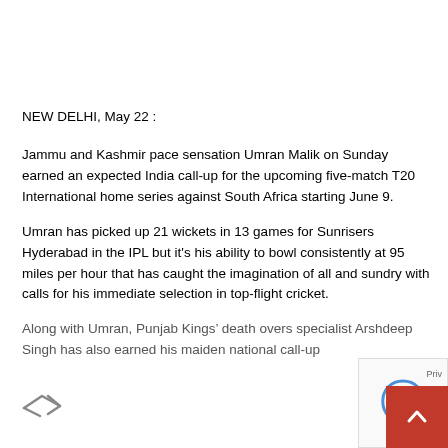NEW DELHI, May 22 :
Jammu and Kashmir pace sensation Umran Malik on Sunday earned an expected India call-up for the upcoming five-match T20 International home series against South Africa starting June 9.
Umran has picked up 21 wickets in 13 games for Sunrisers Hyderabad in the IPL but it's his ability to bowl consistently at 95 miles per hour that has caught the imagination of all and sundry with calls for his immediate selection in top-flight cricket.
Along with Umran, Punjab Kings' death overs specialist Arshdeep Singh has also earned his maiden national call-up